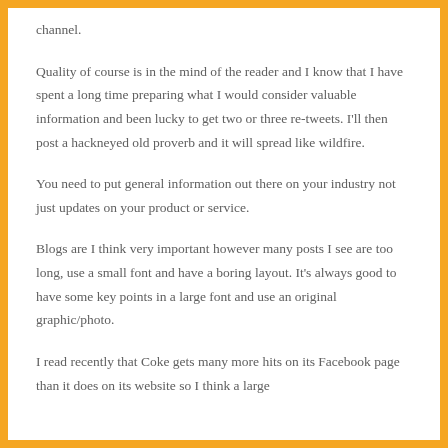channel.
Quality of course is in the mind of the reader and I know that I have spent a long time preparing what I would consider valuable information and been lucky to get two or three re-tweets. I'll then post a hackneyed old proverb and it will spread like wildfire.
You need to put general information out there on your industry not just updates on your product or service.
Blogs are I think very important however many posts I see are too long, use a small font and have a boring layout. It's always good to have some key points in a large font and use an original graphic/photo.
I read recently that Coke gets many more hits on its Facebook page than it does on its website so I think a large